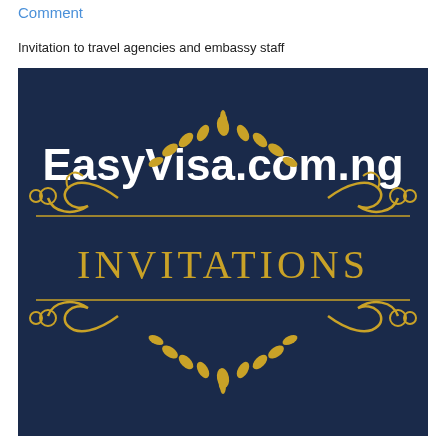Comment
Invitation to travel agencies and embassy staff
[Figure (logo): EasyVisa.com.ng invitations logo on dark navy blue background with gold ornamental flourishes and the text INVITATIONS in gold serif letters]